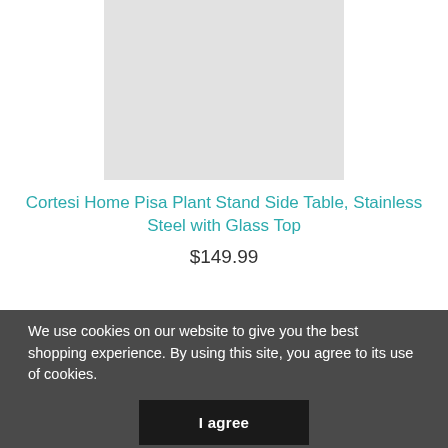[Figure (photo): Light grey placeholder rectangle representing a product image for the Cortesi Home Pisa Plant Stand Side Table]
Cortesi Home Pisa Plant Stand Side Table, Stainless Steel with Glass Top
$149.99
We use cookies on our website to give you the best shopping experience. By using this site, you agree to its use of cookies.
I agree